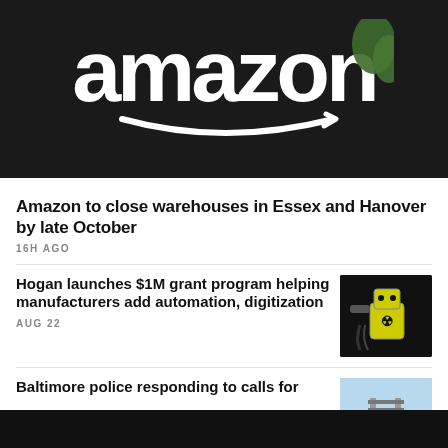[Figure (photo): Amazon logo sign on dark background with white 3D lettering and smile arrow]
Amazon to close warehouses in Essex and Hanover by late October
16H AGO
Hogan launches $1M grant program helping manufacturers add automation, digitization
[Figure (photo): Yellow industrial robot arm with hazard symbols in dark factory setting]
AUG 22
Baltimore police responding to calls for
[Figure (photo): Blue sky with building structure partially visible]